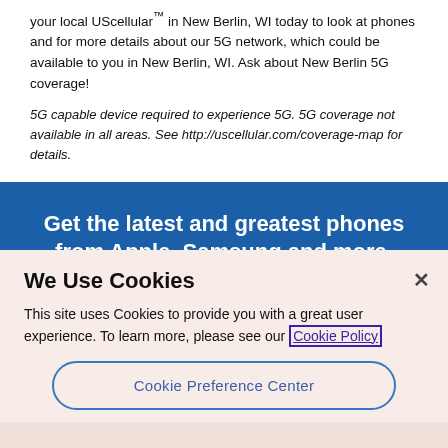your local UScellular™ in New Berlin, WI today to look at phones and for more details about our 5G network, which could be available to you in New Berlin, WI. Ask about New Berlin 5G coverage!
5G capable device required to experience 5G. 5G coverage not available in all areas. See http://uscellular.com/coverage-map for details.
Get the latest and greatest phones from Apple, Samsung and more.
Shop All Cell Phones
We Use Cookies
This site uses Cookies to provide you with a great user experience. To learn more, please see our Cookie Policy
Cookie Preference Center